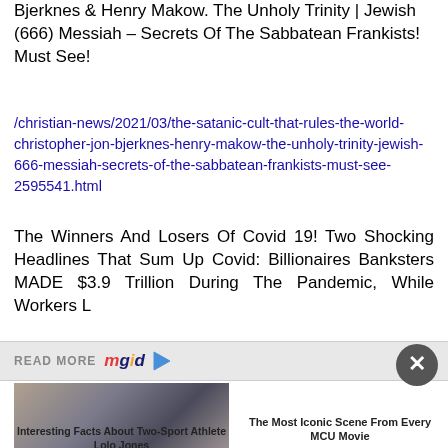Bjerknes & Henry Makow. The Unholy Trinity | Jewish (666) Messiah – Secrets Of The Sabbatean Frankists! Must See!
/christian-news/2021/03/the-satanic-cult-that-rules-the-world-christopher-jon-bjerknes-henry-makow-the-unholy-trinity-jewish-666-messiah-secrets-of-the-sabbatean-frankists-must-see-2595541.html
The Winners And Losers Of Covid 19! Two Shocking Headlines That Sum Up Covid: Billionaires Banksters MADE $3.9 Trillion During The Pandemic, While Workers L
READ MORE mgid
[Figure (photo): Photo of a woman looking at her phone, sitting on a couch]
Interesting Facts About Two-Sport Athlete Lolo Jones
The Most Iconic Scene From Every MCU Movie